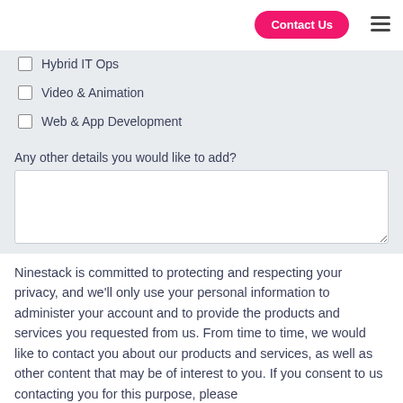Contact Us
Hybrid IT Ops
Video & Animation
Web & App Development
Any other details you would like to add?
Ninestack is committed to protecting and respecting your privacy, and we’ll only use your personal information to administer your account and to provide the products and services you requested from us. From time to time, we would like to contact you about our products and services, as well as other content that may be of interest to you. If you consent to us contacting you for this purpose, please